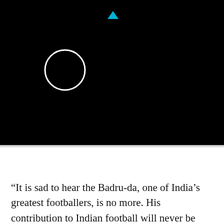[Figure (screenshot): Black background with a white circle outline (loading spinner) at left-center and a small cyan/blue triangle/play icon near the top center]
“It is sad to hear the Badru-da, one of India’s greatest footballers, is no more. His contribution to Indian football will never be forgotten. I share the grief,” AIFF